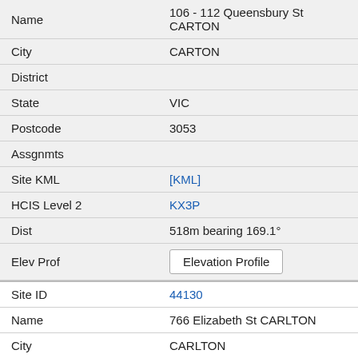| Name | 106 - 112 Queensbury St CARTON |
| City | CARTON |
| District |  |
| State | VIC |
| Postcode | 3053 |
| Assgnmts |  |
| Site KML | [KML] |
| HCIS Level 2 | KX3P |
| Dist | 518m bearing 169.1° |
| Elev Prof | Elevation Profile |
| Site ID | 44130 |
| Name | 766 Elizabeth St CARLTON |
| City | CARLTON |
| District |  |
| State | VIC |
| Postcode | 3053 |